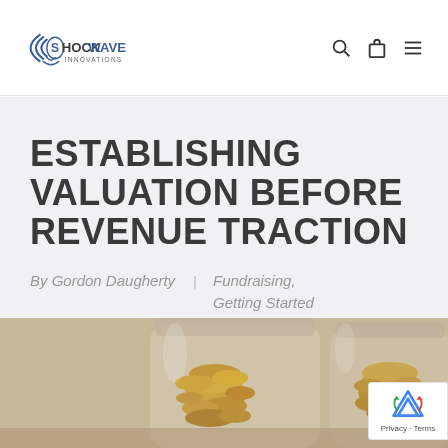SHOCKWAVE INNOVATIONS
ESTABLISHING VALUATION BEFORE REVENUE TRACTION
By Gordon Daugherty | Fundraising, Getting Started
[Figure (photo): Glass jars filled with coins, illustrating fundraising and valuation concepts]